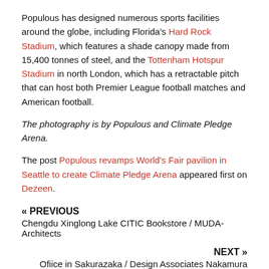Populous has designed numerous sports facilities around the globe, including Florida's Hard Rock Stadium, which features a shade canopy made from 15,400 tonnes of steel, and the Tottenham Hotspur Stadium in north London, which has a retractable pitch that can host both Premier League football matches and American football.
The photography is by Populous and Climate Pledge Arena.
The post Populous revamps World's Fair pavilion in Seattle to create Climate Pledge Arena appeared first on Dezeen.
« PREVIOUS
Chengdu Xinglong Lake CITIC Bookstore / MUDA-Architects
NEXT »
Ofiice in Sakurazaka / Design Associates Nakamura